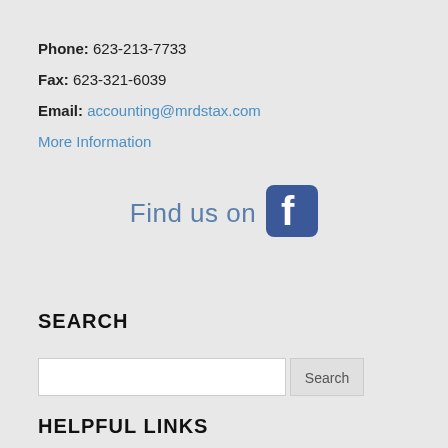Phone: 623-213-7733
Fax: 623-321-6039
Email: accounting@mrdstax.com
More Information
[Figure (logo): Find us on Facebook - text with Facebook icon]
SEARCH
Search input field with Search button
HELPFUL LINKS